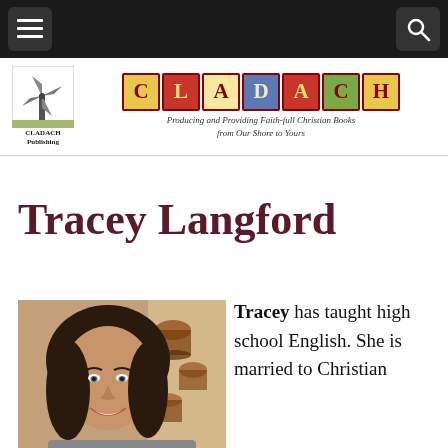Navigation bar with menu and search icons
[Figure (logo): Cladach Publishing logo with illustrated windmill and colorful illuminated letter tiles spelling CLADACH, with tagline: Producing and Providing Faith-full Christian Books from Our Shore to Yours]
Tracey Langford
[Figure (photo): Photo of Tracey Langford, a woman with dark brown shoulder-length hair, smiling, with a painting of coffee cups in the background]
Tracey has taught high school English. She is married to Christian